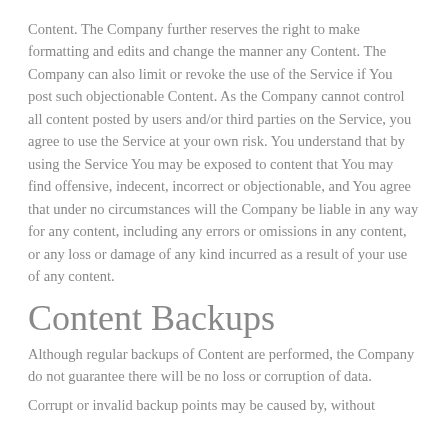Content. The Company further reserves the right to make formatting and edits and change the manner any Content. The Company can also limit or revoke the use of the Service if You post such objectionable Content. As the Company cannot control all content posted by users and/or third parties on the Service, you agree to use the Service at your own risk. You understand that by using the Service You may be exposed to content that You may find offensive, indecent, incorrect or objectionable, and You agree that under no circumstances will the Company be liable in any way for any content, including any errors or omissions in any content, or any loss or damage of any kind incurred as a result of your use of any content.
Content Backups
Although regular backups of Content are performed, the Company do not guarantee there will be no loss or corruption of data.
Corrupt or invalid backup points may be caused by, without